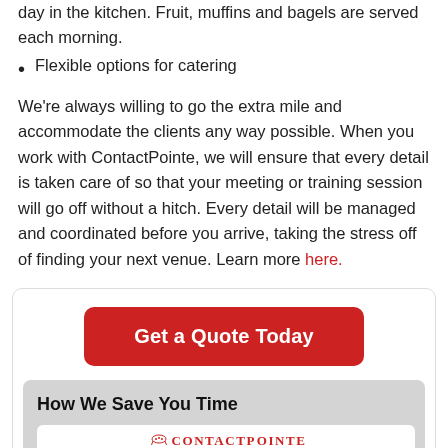day in the kitchen. Fruit, muffins and bagels are served each morning.
Flexible options for catering
We're always willing to go the extra mile and accommodate the clients any way possible. When you work with ContactPointe, we will ensure that every detail is taken care of so that your meeting or training session will go off without a hitch. Every detail will be managed and coordinated before you arrive, taking the stress off of finding your next venue. Learn more here.
[Figure (other): Get a Quote Today call-to-action button and How We Save You Time section with ContactPointe logo and illustration]